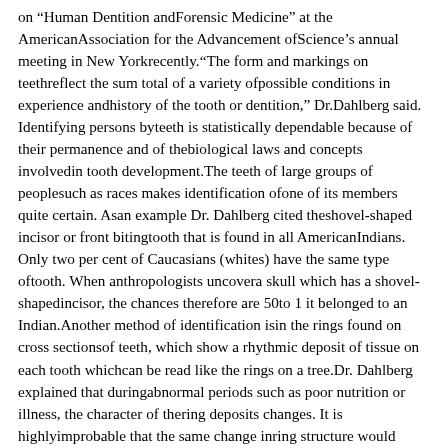on "Human Dentition andForensic Medicine" at the AmericanAssociation for the Advancement ofScience's annual meeting in New Yorkrecently."The form and markings on teethreflect the sum total of a variety ofpossible conditions in experience andhistory of the tooth or dentition," Dr.Dahlberg said. Identifying persons byteeth is statistically dependable because of their permanence and of thebiological laws and concepts involvedin tooth development.The teeth of large groups of peoplesuch as races makes identification ofone of its members quite certain. Asan example Dr. Dahlberg cited theshovel-shaped incisor or front bitingtooth that is found in all AmericanIndians. Only two per cent of Caucasians (whites) have the same type oftooth. When anthropologists uncovera skull which has a shovel-shapedincisor, the chances therefore are 50to 1 it belonged to an Indian.Another method of identification isin the rings found on cross sectionsof teeth, which show a rhythmic deposit of tissue on each tooth whichcan be read like the rings on a tree.Dr. Dahlberg explained that duringabnormal periods such as poor nutrition or illness, the character of thering deposits changes. It is highlyimprobable that the same change inring structure would occur identicallyin two persons.Teeth uncovered by anthropologistsare clues to the age of the person theybelonged to. This is determined bywear on the surface of the tooth andthe kind of tooth it is, since certaintypes — such as wisdom teeth — occurat different ages. Dr. Dahlberg listed these otheridentifying factors:— a material from dental structures of the teeth, artificial restorations